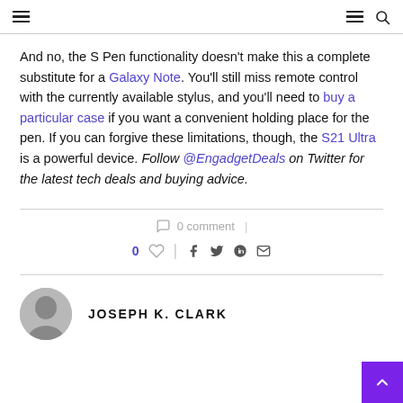Navigation header with hamburger menu icons and search icon
And no, the S Pen functionality doesn't make this a complete substitute for a Galaxy Note. You'll still miss remote control with the currently available stylus, and you'll need to buy a particular case if you want a convenient holding place for the pen. If you can forgive these limitations, though, the S21 Ultra is a powerful device. Follow @EngadgetDeals on Twitter for the latest tech deals and buying advice.
0 comment
0 ♡ | f t p ✉
JOSEPH K. CLARK